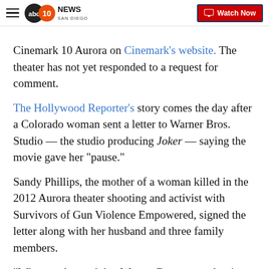ABC 10News San Diego | Watch Now
Cinemark 10 Aurora on Cinemark's website. The theater has not yet responded to a request for comment.
The Hollywood Reporter's story comes the day after a Colorado woman sent a letter to Warner Bros. Studio — the studio producing Joker — saying the movie gave her "pause."
Sandy Phillips, the mother of a woman killed in the 2012 Aurora theater shooting and activist with Survivors of Gun Violence Empowered, signed the letter along with her husband and three family members.
"When we learned that Warner Bros. was releasing a